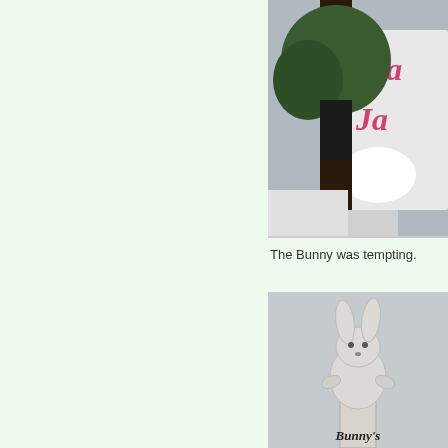[Figure (photo): Outdoor sign with pink cursive letters partially reading 'Fla...' and 'Ja...' with a tree in front, overcast sky]
The Bunny was tempting.
[Figure (photo): A white bunny-shaped sign cutout on top of a sign reading "Bunny's" against a grey sky]